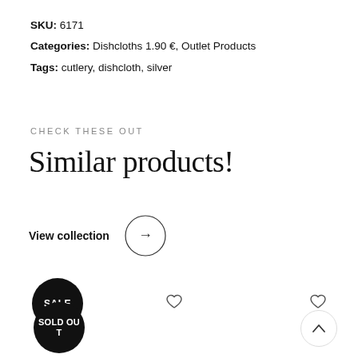SKU: 6171
Categories: Dishcloths 1.90 €, Outlet Products
Tags: cutlery, dishcloth, silver
CHECK THESE OUT
Similar products!
View collection →
[Figure (other): SALE badge (black circle with white text)]
[Figure (other): SOLD OUT badge (black circle with white text)]
[Figure (other): Heart/wishlist button icon]
[Figure (other): Heart/wishlist button icon (second)]
[Figure (other): Scroll to top button with up chevron]